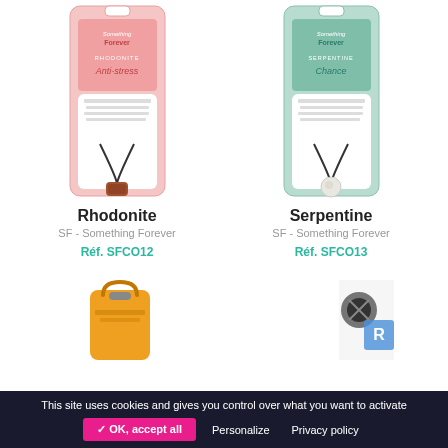[Figure (photo): Product photo of Rhodonite necklace on pink display card — SF Something Forever branding, stone pendant on black cord]
Rhodonite
SF - Something Forever
Réf. SFCO12
[Figure (photo): Product photo of Serpentine necklace on green display card — SF Something Forever branding, white/pale stone pendant on black cord]
Serpentine
SF - Something Forever
Réf. SFCO13
[Figure (photo): Partial product photo visible at bottom left — orange/amber colored item]
[Figure (photo): Partial product photo visible at bottom right — dark colored item]
This site uses cookies and gives you control over what you want to activate
✓ OK, accept all
Personalize
Privacy policy